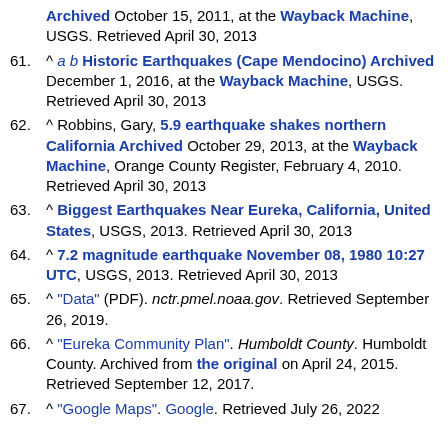Archived October 15, 2011, at the Wayback Machine, USGS. Retrieved April 30, 2013
61. ^ a b Historic Earthquakes (Cape Mendocino) Archived December 1, 2016, at the Wayback Machine, USGS. Retrieved April 30, 2013
62. ^ Robbins, Gary, 5.9 earthquake shakes northern California Archived October 29, 2013, at the Wayback Machine, Orange County Register, February 4, 2010. Retrieved April 30, 2013
63. ^ Biggest Earthquakes Near Eureka, California, United States, USGS, 2013. Retrieved April 30, 2013
64. ^ 7.2 magnitude earthquake November 08, 1980 10:27 UTC, USGS, 2013. Retrieved April 30, 2013
65. ^ "Data" (PDF). nctr.pmel.noaa.gov. Retrieved September 26, 2019.
66. ^ "Eureka Community Plan". Humboldt County. Humboldt County. Archived from the original on April 24, 2015. Retrieved September 12, 2017.
67. ^ "Google Maps". Google. Retrieved July 26, 2022.